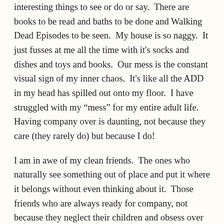interesting things to see or do or say.  There are books to be read and baths to be done and Walking Dead Episodes to be seen.  My house is so naggy.  It just fusses at me all the time with it's socks and dishes and toys and books.  Our mess is the constant visual sign of my inner chaos.  It's like all the ADD in my head has spilled out onto my floor.  I have struggled with my “mess” for my entire adult life.  Having company over is daunting, not because they care (they rarely do) but because I do!
I am in awe of my clean friends.  The ones who naturally see something out of place and put it where it belongs without even thinking about it.  Those friends who are always ready for company, not because they neglect their children and obsess over housework, but because it’s comforting to them and their families to have things in order.  I